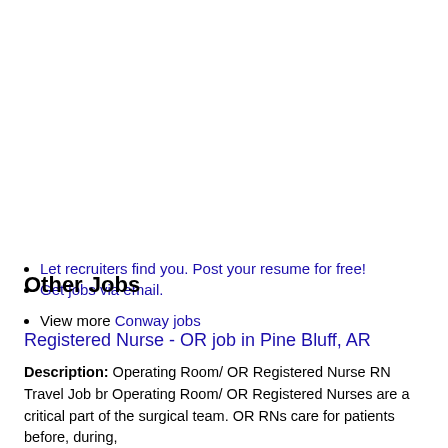Let recruiters find you. Post your resume for free!
Get jobs via email.
View more Conway jobs
Other Jobs
Registered Nurse - OR job in Pine Bluff, AR
Description: Operating Room/ OR Registered Nurse RN Travel Job br Operating Room/ OR Registered Nurses are a critical part of the surgical team. OR RNs care for patients before, during,